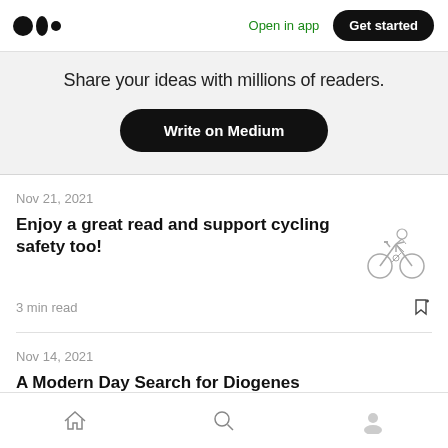Medium logo | Open in app | Get started
Share your ideas with millions of readers.
Write on Medium
Nov 21, 2021
Enjoy a great read and support cycling safety too!
3 min read
Nov 14, 2021
A Modern Day Search for Diogenes
Home | Search | Profile